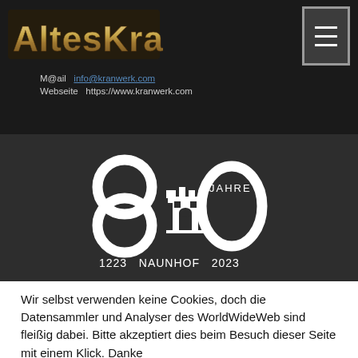[Figure (logo): AltesKranWerk logo text in metallic/textured style on dark background]
[Figure (logo): Hamburger menu icon button (three white horizontal lines) on dark grey background]
M@ail  info@kranwerk.com
Webseite  https://www.kranwerk.com
[Figure (logo): 800 Jahre Naunhof 1223-2023 anniversary logo - white graphic showing '800' with a castle tower forming the middle zero, text JAHRE and 1223 NAUNHOF 2023]
Wir selbst verwenden keine Cookies, doch die Datensammler und Analyser des WorldWideWeb sind fleißig dabei. Bitte akzeptiert dies beim Besuch dieser Seite mit einem Klick. Danke
Einstellungen
Akzeptieren